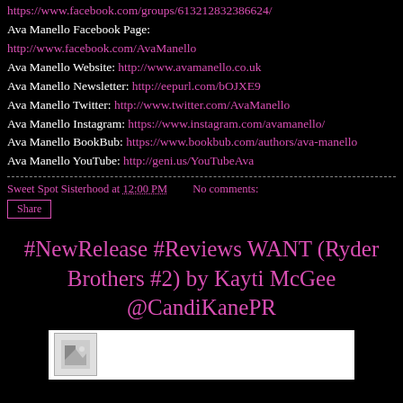https://www.facebook.com/groups/613212832386624/
Ava Manello Facebook Page: http://www.facebook.com/AvaManello
Ava Manello Website: http://www.avamanello.co.uk
Ava Manello Newsletter: http://eepurl.com/bOJXE9
Ava Manello Twitter: http://www.twitter.com/AvaManello
Ava Manello Instagram: https://www.instagram.com/avamanello/
Ava Manello BookBub: https://www.bookbub.com/authors/ava-manello
Ava Manello YouTube: http://geni.us/YouTubeAva
Sweet Spot Sisterhood at 12:00 PM   No comments:
Share
#NewRelease #Reviews WANT (Ryder Brothers #2) by Kayti McGee @CandiKanePR
[Figure (photo): Book cover image placeholder strip at bottom of page]